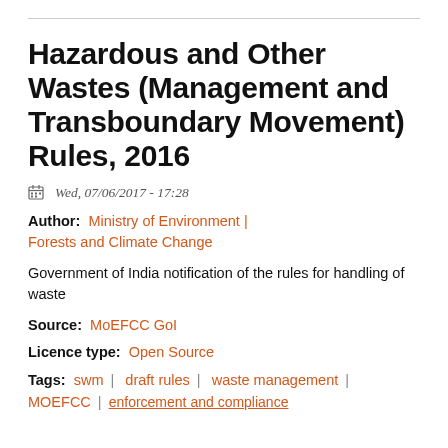Hazardous and Other Wastes (Management and Transboundary Movement) Rules, 2016
Wed, 07/06/2017 - 17:28
Author: Ministry of Environment | Forests and Climate Change
Government of India notification of the rules for handling of waste
Source: MoEFCC GoI
Licence type: Open Source
Tags: swm | draft rules | waste management | MOEFCC | ...